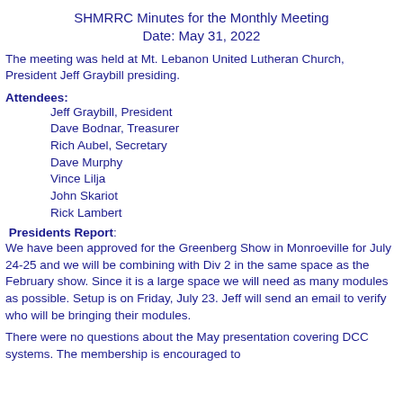SHMRRC Minutes for the Monthly Meeting
Date: May 31, 2022
The meeting was held at Mt. Lebanon United Lutheran Church, President Jeff Graybill presiding.
Attendees:
Jeff Graybill, President
Dave Bodnar, Treasurer
Rich Aubel, Secretary
Dave Murphy
Vince Lilja
John Skariot
Rick Lambert
Presidents Report:
We have been approved for the Greenberg Show in Monroeville for July 24-25 and we will be combining with Div 2 in the same space as the February show. Since it is a large space we will need as many modules as possible. Setup is on Friday, July 23. Jeff will send an email to verify who will be bringing their modules.
There were no questions about the May presentation covering DCC systems. The membership is encouraged to